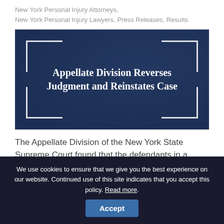New York Personal Injury Attorneys, New York Personal Injury Lawyers, Press Releases, Results
[Figure (illustration): Dark blue tinted image of Lady Justice scales with decorative corner brackets and centered bold text reading 'Appellate Division Reverses Judgment and Reinstates Case']
The Appellate Division of the New York State Supreme Court found that the defendants in a
We use cookies to ensure that we give you the best experience on our website. Continued use of this site indicates that you accept this policy. Read more. Accept